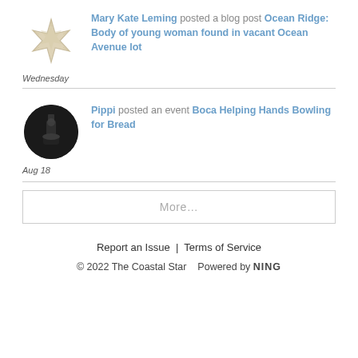Mary Kate Leming posted a blog post Ocean Ridge: Body of young woman found in vacant Ocean Avenue lot
Wednesday
Pippi posted an event Boca Helping Hands Bowling for Bread
Aug 18
More...
Report an Issue  |  Terms of Service
© 2022 The Coastal Star   Powered by NING